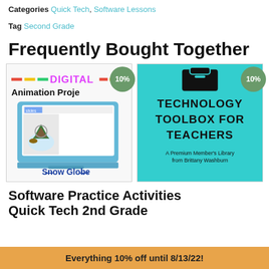Categories Quick Tech, Software Lessons
Tag Second Grade
Frequently Bought Together
[Figure (illustration): Two product cards side by side. Left: Digital Animation Project Snow Globe showing a laptop with snow globe animation, 10% badge. Right: Technology Toolbox for Teachers - A Premium Member's Library from Brittany Washburn, teal background, 10% badge.]
Software Practice Activities Quick Tech 2nd Grade
Everything 10% off until 8/13/22!